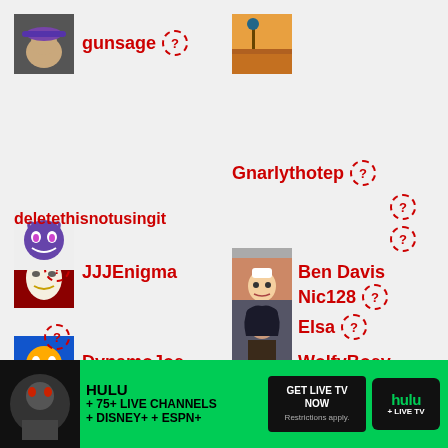[Figure (screenshot): User profile list from a gaming/streaming platform showing usernames with avatars and question mark icons]
gunsage
Gnarlythotep
JJJEnigma
Ben Davis
DynamoJoe
WolfyBoey
deletethisnotusingit
Nic128
Elsa
[Figure (infographic): Hulu ad banner: HULU + 75+ LIVE CHANNELS + DISNEY+ + ESPN+. GET LIVE TV NOW. Restrictions apply. Hulu + LIVE TV logo.]